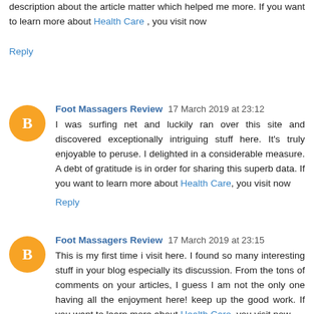description about the article matter which helped me more. If you want to learn more about Health Care , you visit now
Reply
Foot Massagers Review 17 March 2019 at 23:12
I was surfing net and luckily ran over this site and discovered exceptionally intriguing stuff here. It's truly enjoyable to peruse. I delighted in a considerable measure. A debt of gratitude is in order for sharing this superb data. If you want to learn more about Health Care, you visit now
Reply
Foot Massagers Review 17 March 2019 at 23:15
This is my first time i visit here. I found so many interesting stuff in your blog especially its discussion. From the tons of comments on your articles, I guess I am not the only one having all the enjoyment here! keep up the good work. If you want to learn more about Health Care, you visit now
Reply